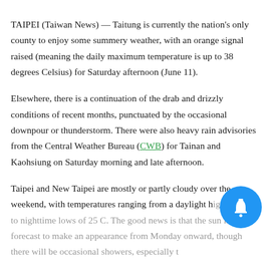TAIPEI (Taiwan News) — Taitung is currently the nation's only county to enjoy some summery weather, with an orange signal raised (meaning the daily maximum temperature is up to 38 degrees Celsius) for Saturday afternoon (June 11).
Elsewhere, there is a continuation of the drab and drizzly conditions of recent months, punctuated by the occasional downpour or thunderstorm. There were also heavy rain advisories from the Central Weather Bureau (CWB) for Tainan and Kaohsiung on Saturday morning and late afternoon.
Taipei and New Taipei are mostly or partly cloudy over the weekend, with temperatures ranging from a daylight high of 32 C to nighttime lows of 25 C. The good news is that the sun is forecast to make an appearance from Monday onward, though there will be occasional showers, especially toward...